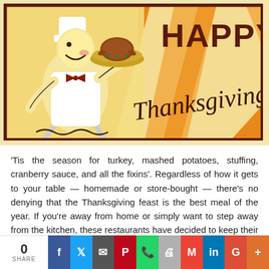[Figure (illustration): Retro Thanksgiving greeting card illustration showing a cheerful chef carrying a roasted turkey on a platter, with 'HAPPY Thanksgiving' text on an orange background with cream/yellow triangular decorative elements and dark brown border.]
'Tis the season for turkey, mashed potatoes, stuffing, cranberry sauce, and all the fixins'. Regardless of how it gets to your table — homemade or store-bought — there's no denying that the Thanksgiving feast is the best meal of the year. If you're away from home or simply want to step away from the kitchen, these restaurants have decided to keep their doors open just for you (and, well, the rest
0 SHARE | Facebook | Twitter | Email | Pinterest | WhatsApp | Print | Gmail | LinkedIn | Google+ | More